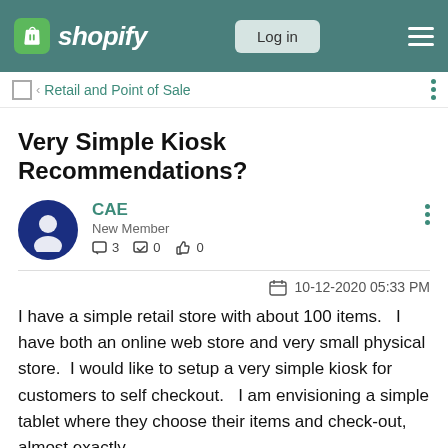Shopify — Log in
Retail and Point of Sale
Very Simple Kiosk Recommendations?
CAE
New Member
☐ 3   ✓ 0   👍 0
10-12-2020 05:33 PM
I have a simple retail store with about 100 items.   I have both an online web store and very small physical store.  I would like to setup a very simple kiosk for customers to self checkout.   I am envisioning a simple tablet where they choose their items and check-out, almost exactly